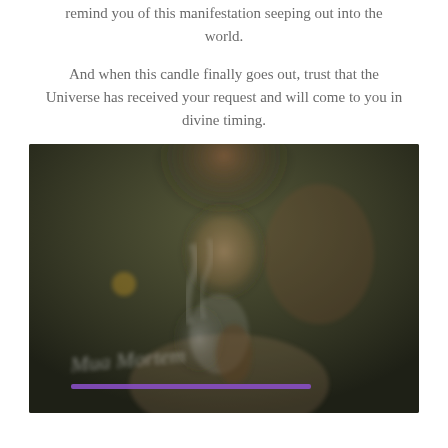remind you of this manifestation seeping out into the world.
And when this candle finally goes out, trust that the Universe has received your request and will come to you in divine timing.
[Figure (photo): A blurred artistic photo of a woman with curly auburn hair blowing smoke from a smoldering herb bundle (sage), with a dark green bokeh background. A cursive signature is overlaid in white/light text near the bottom, with a purple horizontal line beneath it.]